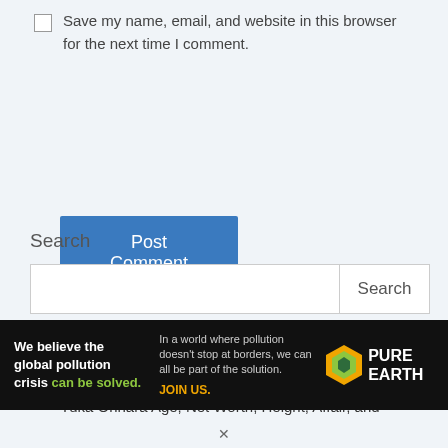Save my name, email, and website in this browser for the next time I comment.
Post Comment
Search
Search
Recent Posts
Yuka Orihara Age, Net Worth, Height, Affair, and
[Figure (screenshot): Pure Earth advertisement banner: 'We believe the global pollution crisis can be solved. In a world where pollution doesn't stop at borders, we can all be part of the solution. JOIN US.' with Pure Earth logo.]